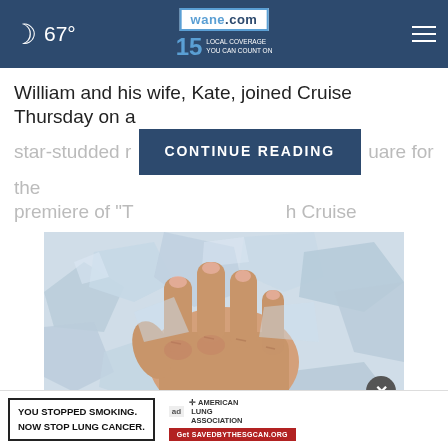67° | wane.com 15 LOCAL COVERAGE YOU CAN COUNT ON
William and his wife, Kate, joined Cruise Thursday on a star-studded r[...] uare for the premiere of "T[...] h Cruise
CONTINUE READING
[Figure (photo): A human hand placed on ice cubes, showing inflamed/swollen fingers, illustrating psoriatic arthritis symptoms.]
First Warnings of Psoriatic Arthritis
[Figure (infographic): Ad banner: YOU STOPPED SMOKING. NOW STOP LUNG CANCER. with American Lung Association logo and Get SavedByTheScan.org CTA]